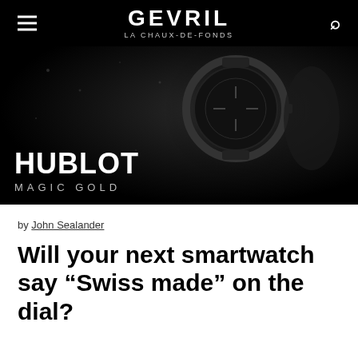GEVRIL LA CHAUX-DE-FONDS
[Figure (photo): Dark promotional image of a luxury Hublot Magic Gold watch on a dark background, with text overlay reading HUBLOT MAGIC GOLD]
by John Sealander
Will your next smartwatch say “Swiss made” on the dial?